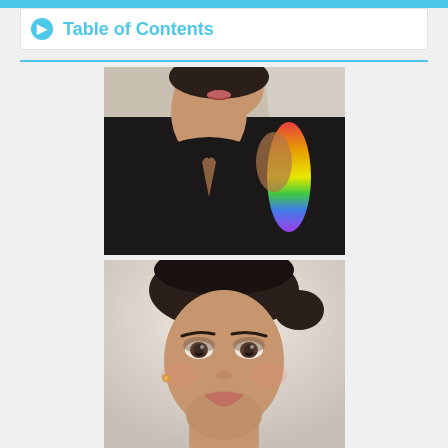Table of Contents
[Figure (photo): Photo of a young woman in a black sleeveless dress with a keyhole neckline, with rainbow light reflection on her arm, selfie-style photo]
[Figure (photo): Close-up portrait photo of a young woman with dark hair pulled back, wearing earrings, with makeup, looking at the camera]